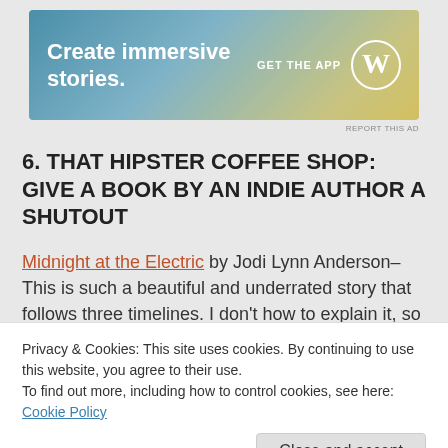[Figure (other): WordPress advertisement banner: 'Create immersive stories. GET THE APP' with WordPress logo on a blue-to-yellow gradient background]
REPORT THIS AD
6. THAT HIPSTER COFFEE SHOP: GIVE A BOOK BY AN INDIE AUTHOR A SHUTOUT
Midnight at the Electric by Jodi Lynn Anderson– This is such a beautiful and underrated story that follows three timelines. I don't how to explain it, so I'll just post the Goodreads synopsis:
Divided by time. Ignited by a spark.
Privacy & Cookies: This site uses cookies. By continuing to use this website, you agree to their use.
To find out more, including how to control cookies, see here: Cookie Policy
is immediately drawn into the mystery surrounding